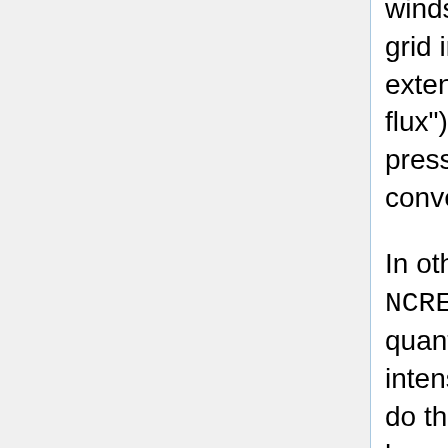winds by the pressure on the input grid in order to create an extensive uantity (e.g. a "mass flux"). Then we must divide by the pressure on the output grid to convert back to a wind.
In other regridding routines, (e.g. NCREGRID), you can specify if the quantity you are regridding is intensive or extensive, and it will do the regridding accordingly. I've been looking at the MAP_A2A regridding algorithm to answer two different questions:
Why does it look so complicated? Apparently we are